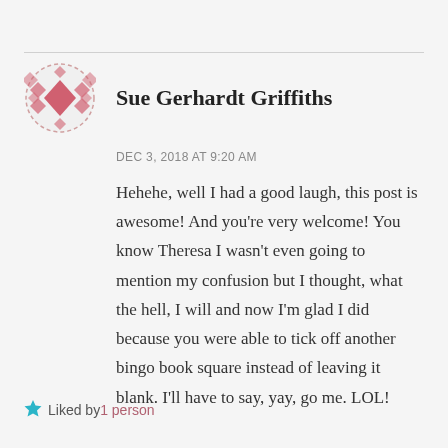[Figure (illustration): Pink diamond/harlequin pattern avatar icon for Sue Gerhardt Griffiths]
Sue Gerhardt Griffiths
DEC 3, 2018 AT 9:20 AM
Hehehe, well I had a good laugh, this post is awesome! And you're very welcome! You know Theresa I wasn't even going to mention my confusion but I thought, what the hell, I will and now I'm glad I did because you were able to tick off another bingo book square instead of leaving it blank. I'll have to say, yay, go me. LOL!
Liked by 1 person